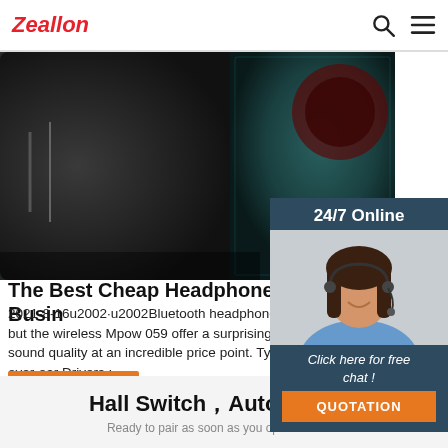Zeallon
[Figure (photo): Close-up photo of a black and teal portable Bluetooth speaker]
[Figure (photo): 24/7 Online chat widget with a smiling woman wearing a headset, dark blue background, with 'Click here for free chat!' text and 'QUOTATION' orange button]
The Best Cheap Headphones of 2021 - Busin
2021-8-16u2002·u2002Bluetooth headphones can but the wireless Mpow 059 offer a surprising leve sound quality at an incredible price point. Type : over-ear Drivers : ...
Get Price
Hall Switch，Auto Pairing
Ready to pair as soon as you open the case